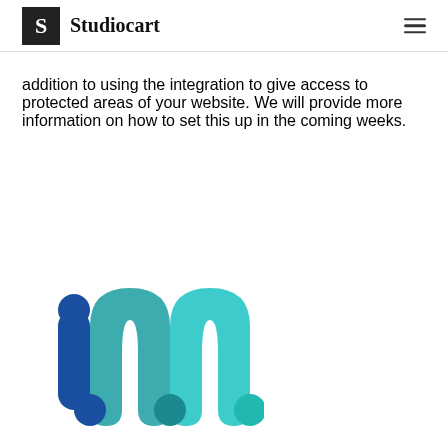Studiocart
addition to using the integration to give access to protected areas of your website. We will provide more information on how to set this up in the coming weeks.
[Figure (logo): Memberful logo — a stylized lowercase 'm' in blue and teal/cyan gradient tones]